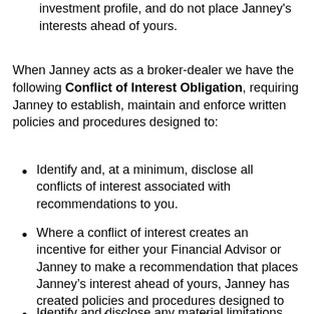investment profile, and do not place Janney's interests ahead of yours.
When Janney acts as a broker-dealer we have the following Conflict of Interest Obligation, requiring Janney to establish, maintain and enforce written policies and procedures designed to:
Identify and, at a minimum, disclose all conflicts of interest associated with recommendations to you.
Where a conflict of interest creates an incentive for either your Financial Advisor or Janney to make a recommendation that places Janney's interest ahead of yours, Janney has created policies and procedures designed to disclose and mitigate the conflict.
Identify and disclose any material limitations